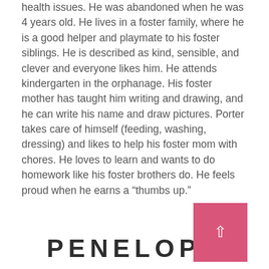health issues. He was abandoned when he was 4 years old. He lives in a foster family, where he is a good helper and playmate to his foster siblings. He is described as kind, sensible, and clever and everyone likes him. He attends kindergarten in the orphanage. His foster mother has taught him writing and drawing, and he can write his name and draw pictures. Porter takes care of himself (feeding, washing, dressing) and likes to help his foster mom with chores. He loves to learn and wants to do homework like his foster brothers do. He feels proud when he earns a “thumbs up.”
PENELOPE